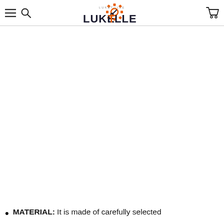LUKETOLLE
MATERIAL: It is made of carefully selected